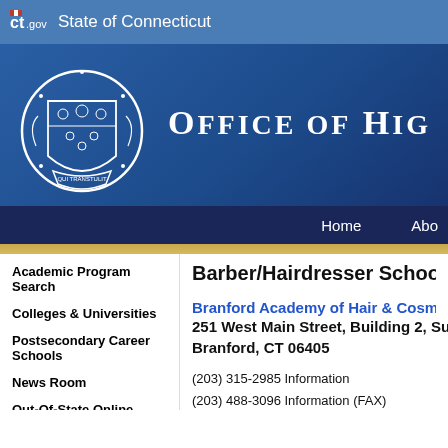ct.gov State of Connecticut
[Figure (logo): Connecticut state seal / coat of arms on blue banner with text OFFICE OF HIG...]
Academic Program Search
Colleges & Universities
Postsecondary Career Schools
News Room
Out-Of-State Online Registration
Related Links
State Statutes & Legislative Updates
Barber/Hairdresser School Infor...
Branford Academy of Hair & Cosme...
251 West Main Street, Building 2, Sui...
Branford, CT 06405
(203) 315-2985 Information
(203) 488-3096 Information (FAX)
Initial Approval Date: August 18, 2014